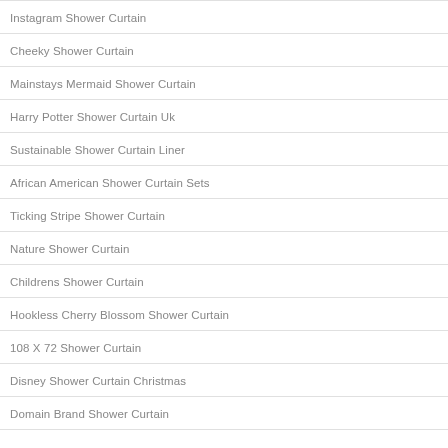Instagram Shower Curtain
Cheeky Shower Curtain
Mainstays Mermaid Shower Curtain
Harry Potter Shower Curtain Uk
Sustainable Shower Curtain Liner
African American Shower Curtain Sets
Ticking Stripe Shower Curtain
Nature Shower Curtain
Childrens Shower Curtain
Hookless Cherry Blossom Shower Curtain
108 X 72 Shower Curtain
Disney Shower Curtain Christmas
Domain Brand Shower Curtain